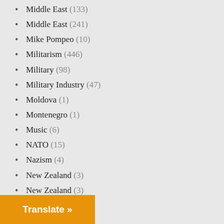Middle East (133)
Middle East (241)
Mike Pompeo (10)
Militarism (446)
Military (98)
Military Industry (47)
Moldova (1)
Montenegro (1)
Music (6)
NATO (15)
Nazism (4)
New Zealand (3)
New Zealand (3)
News Analysis (41)
Nigeria (7)
Nigeria (1)
North Korea (30)
…odesia (3)